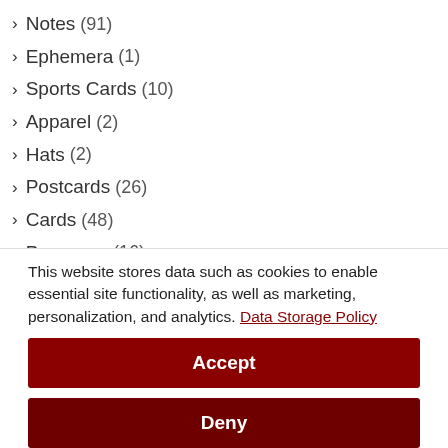Notes (91)
Ephemera (1)
Sports Cards (10)
Apparel (2)
Hats (2)
Postcards (26)
Cards (48)
Programs (16)
Sentiments (31)
Posters (8)
Art (14)
Questionaires (8)
This website stores data such as cookies to enable essential site functionality, as well as marketing, personalization, and analytics. Data Storage Policy
Accept
Deny